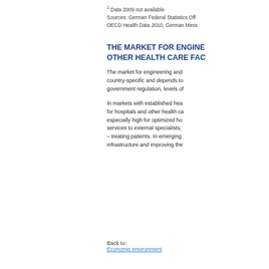1 Data 2009 not available
Sources: German Federal Statistics Off...
OECD Health Data 2010, German Minis...
THE MARKET FOR ENGINEE... OTHER HEALTH CARE FAC...
The market for engineering and... country-specific and depends to... government regulation, levels of...
In markets with established hea... for hospitals and other health ca... especially high for optimized ho... services to external specialists,... – treating patients. In emerging... infrastructure and improving the...
Back to:
Economic environment